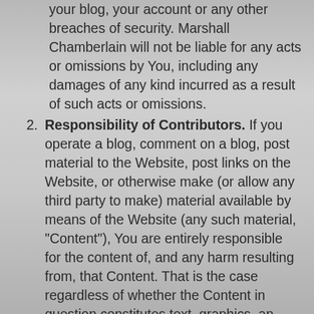your blog, your account or any other breaches of security. Marshall Chamberlain will not be liable for any acts or omissions by You, including any damages of any kind incurred as a result of such acts or omissions.
2. Responsibility of Contributors. If you operate a blog, comment on a blog, post material to the Website, post links on the Website, or otherwise make (or allow any third party to make) material available by means of the Website (any such material, "Content"), You are entirely responsible for the content of, and any harm resulting from, that Content. That is the case regardless of whether the Content in question constitutes text, graphics, an audio file, or computer software. By making Content available, you represent and warrant that: